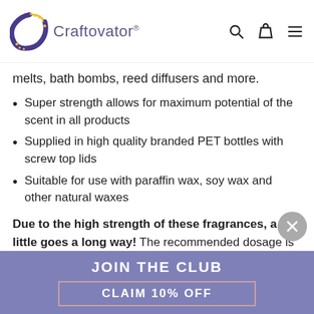Craftovator®
melts, bath bombs, reed diffusers and more.
Super strength allows for maximum potential of the scent in all products
Supplied in high quality branded PET bottles with screw top lids
Suitable for use with paraffin wax, soy wax and other natural waxes
Due to the high strength of these fragrances, a little goes a long way! The recommended dosage is 5-10% - we advise testing at 5% & adjusting for personal taste. Therefore, for 1kg of candle wax we
JOIN THE CLUB
CLAIM 10% OFF